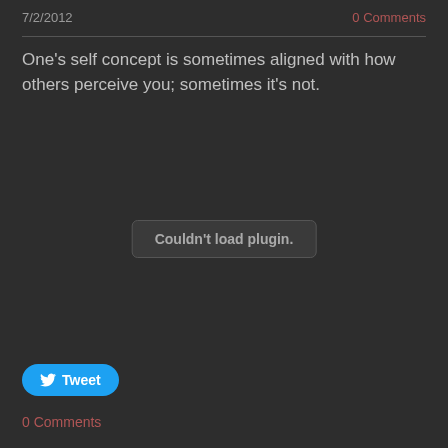7/2/2012
0 Comments
One's self concept is sometimes aligned with how others perceive you; sometimes it's not.
[Figure (screenshot): A browser plugin error box with text 'Couldn't load plugin.']
[Figure (other): Tweet button with Twitter bird icon and label 'Tweet']
0 Comments